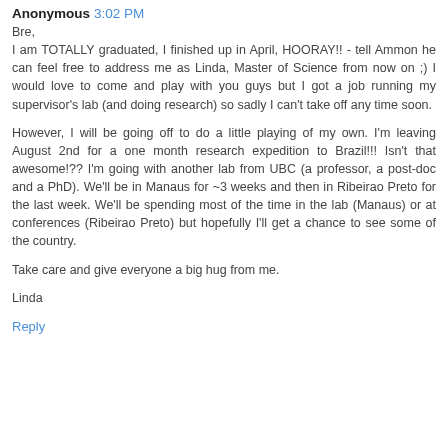Anonymous 3:02 PM
Bre,
I am TOTALLY graduated, I finished up in April, HOORAY!! - tell Ammon he can feel free to address me as Linda, Master of Science from now on ;) I would love to come and play with you guys but I got a job running my supervisor's lab (and doing research) so sadly I can't take off any time soon.

However, I will be going off to do a little playing of my own. I'm leaving August 2nd for a one month research expedition to Brazil!!! Isn't that awesome!?? I'm going with another lab from UBC (a professor, a post-doc and a PhD). We'll be in Manaus for ~3 weeks and then in Ribeirao Preto for the last week. We'll be spending most of the time in the lab (Manaus) or at conferences (Ribeirao Preto) but hopefully I'll get a chance to see some of the country.

Take care and give everyone a big hug from me.

Linda
Reply